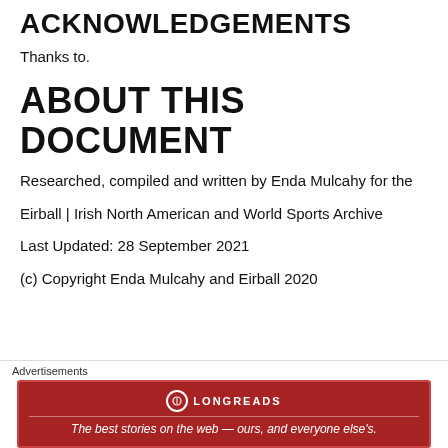ACKNOWLEDGEMENTS
Thanks to.
ABOUT THIS DOCUMENT
Researched, compiled and written by Enda Mulcahy for the Eirball | Irish North American and World Sports Archive
Last Updated: 28 September 2021
(c) Copyright Enda Mulcahy and Eirball 2020
[Figure (other): Longreads advertisement banner with red background and tagline: The best stories on the web — ours, and everyone else's.]